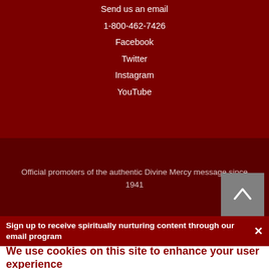Send us an email
1-800-462-7426
Facebook
Twitter
Instagram
YouTube
Official promoters of the authentic Divine Mercy message since 1941
Copyright © 2022 Marian Fathers of the Immaculate Conception of the BVM. All rights reserved.
Sign up to receive spiritually nurturing content through our email program
We use cookies on this site to enhance your user experience